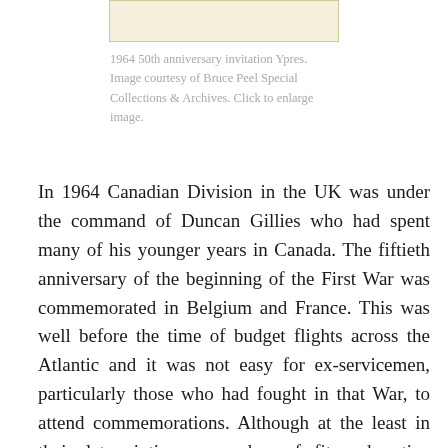[Figure (photo): Partial image of a 1964 50th anniversary invitation for Ypres, cropped at top of page]
1964 50th anniversary invitation Ypres. Image courtesy of Bruce Peel Special Collections & Archives. Click to enlarge image.
In 1964 Canadian Division in the UK was under the command of Duncan Gillies who had spent many of his younger years in Canada. The fiftieth anniversary of the beginning of the First War was commemorated in Belgium and France. This was well before the time of budget flights across the Atlantic and it was not easy for ex-servicemen, particularly those who had fought in that War, to attend commemorations. Although at the least in their late sixties, a number of fit and active members of Canadian Division were keen to join with younger ex-service Frontiersmen and younger others. Shorter text breaks at bottom.